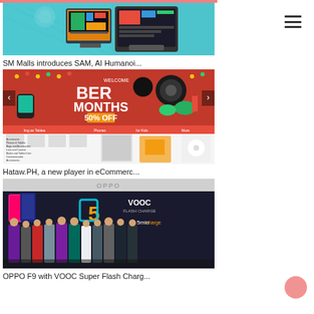[Figure (photo): Tablet device with colorful app on screen, teal/blue background]
SM Malls introduces SAM, AI Humanoi...
[Figure (photo): BER Months sale banner - red background with up to 50% off, electronics and accessories shown. Below: Hataw.PH ecommerce website screenshot]
Hataw.PH, a new player in eCommerc...
[Figure (photo): OPPO F9 launch event photo - group of people standing in front of OPPO branding with VOOC Flash Charge 5-minute charge logo]
OPPO F9 with VOOC Super Flash Charg...